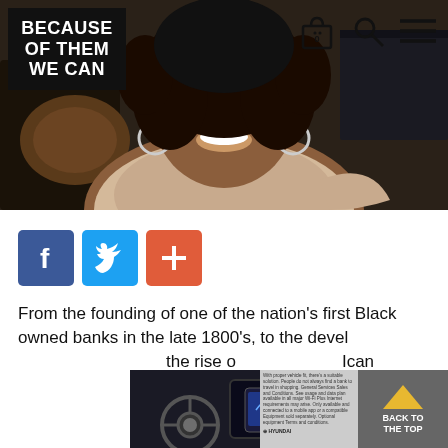[Figure (logo): Because Of Them We Can logo — white bold text on black background]
[Figure (photo): Hero image: smiling Black woman with hoop earrings, wearing light pink top, seated on a couch]
[Figure (infographic): Social share buttons: Facebook (f), Twitter (bird icon), and red plus/share button]
From the founding of one of the nation's first Black owned banks in the late 1800's, to the devel... rise o...
[Figure (photo): Advertisement: car interior dashboard/steering wheel with smartphone integration — Hyundai ad]
[Figure (infographic): Back To The Top button with yellow arrow chevron on grey background]